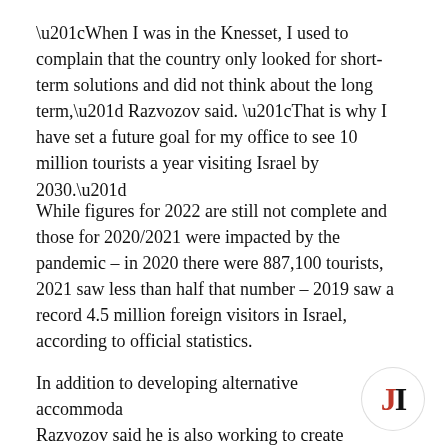“When I was in the Knesset, I used to complain that the country only looked for short-term solutions and did not think about the long term,” Razvozov said. “That is why I have set a future goal for my office to see 10 million tourists a year visiting Israel by 2030.”
While figures for 2022 are still not complete and those for 2020/2021 were impacted by the pandemic – in 2020 there were 887,100 tourists, 2021 saw less than half that number – 2019 saw a record 4.5 million foreign visitors in Israel, according to official statistics.
In addition to developing alternative accommoda… Razvozov said he is also working to create new t… attractions, with a focus on Israeli wineries, the
[Figure (logo): JI logo — circular badge with bold red J and black I]